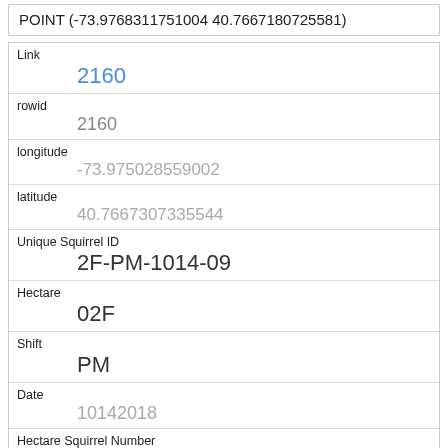POINT (-73.9768311751004 40.7667180725581)
| Field | Value |
| --- | --- |
| Link | 2160 |
| rowid | 2160 |
| longitude | -73.975028559002 |
| latitude | 40.7667307335544 |
| Unique Squirrel ID | 2F-PM-1014-09 |
| Hectare | 02F |
| Shift | PM |
| Date | 10142018 |
| Hectare Squirrel Number | 9 |
| Age |  |